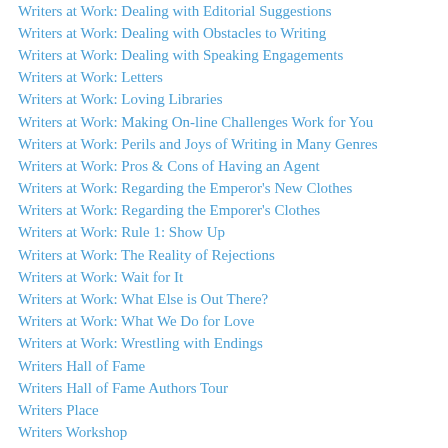Writers at Work: Dealing with Editorial Suggestions
Writers at Work: Dealing with Obstacles to Writing
Writers at Work: Dealing with Speaking Engagements
Writers at Work: Letters
Writers at Work: Loving Libraries
Writers at Work: Making On-line Challenges Work for You
Writers at Work: Perils and Joys of Writing in Many Genres
Writers at Work: Pros & Cons of Having an Agent
Writers at Work: Regarding the Emperor's New Clothes
Writers at Work: Regarding the Emporer's Clothes
Writers at Work: Rule 1: Show Up
Writers at Work: The Reality of Rejections
Writers at Work: Wait for It
Writers at Work: What Else is Out There?
Writers at Work: What We Do for Love
Writers at Work: Wrestling with Endings
Writers Hall of Fame
Writers Hall of Fame Authors Tour
Writers Place
Writers Workshop